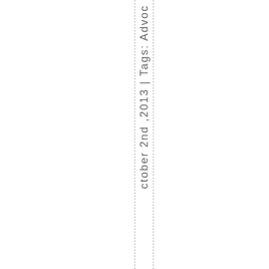October 2nd ,2013 | Tags: Advoc